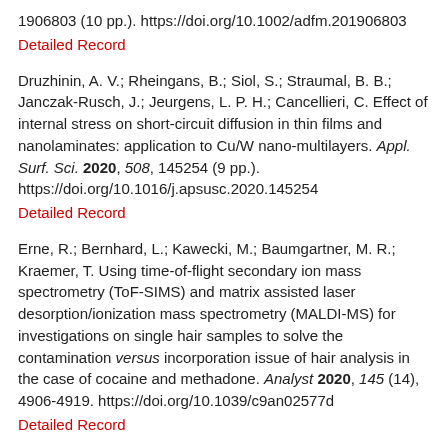1906803 (10 pp.). https://doi.org/10.1002/adfm.201906803
Detailed Record
Druzhinin, A. V.; Rheingans, B.; Siol, S.; Straumal, B. B.; Janczak-Rusch, J.; Jeurgens, L. P. H.; Cancellieri, C. Effect of internal stress on short-circuit diffusion in thin films and nanolaminates: application to Cu/W nano-multilayers. Appl. Surf. Sci. 2020, 508, 145254 (9 pp.). https://doi.org/10.1016/j.apsusc.2020.145254
Detailed Record
Erne, R.; Bernhard, L.; Kawecki, M.; Baumgartner, M. R.; Kraemer, T. Using time-of-flight secondary ion mass spectrometry (ToF-SIMS) and matrix assisted laser desorption/ionization mass spectrometry (MALDI-MS) for investigations on single hair samples to solve the contamination versus incorporation issue of hair analysis in the case of cocaine and methadone. Analyst 2020, 145 (14), 4906-4919. https://doi.org/10.1039/c9an02577d
Detailed Record
Ernst, K. H. XXII. Symposium on atomic, cluster and surface physics (SASP). Conference report. Chimia 2020, 74 (6), 509-511. https://doi.org/10.2533/chimia.2020.509